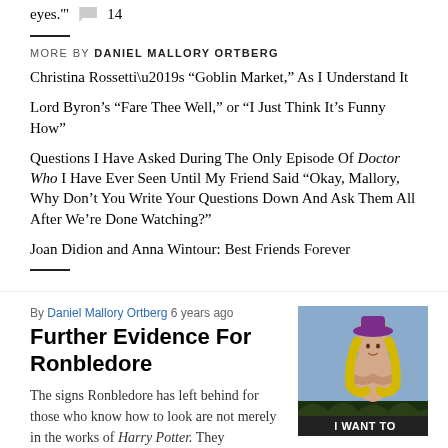eyes.'”  14
MORE BY DANIEL MALLORY ORTBERG
Christina Rossetti’s “Goblin Market,” As I Understand It
Lord Byron’s “Fare Thee Well,” or “I Just Think It’s Funny How”
Questions I Have Asked During The Only Episode Of Doctor Who I Have Ever Seen Until My Friend Said “Okay, Mallory, Why Don’t You Write Your Questions Down And Ask Them All After We’re Done Watching?”
Joan Didion and Anna Wintour: Best Friends Forever
By Daniel Mallory Ortberg 6 years ago
Further Evidence For Ronbledore
The signs Ronbledore has left behind for those who know how to look are not merely in the works of Harry Potter. They
[Figure (photo): Thumbnail image showing a person with long blonde hair wearing a purple hat, with text overlay 'I WANT TO' at the bottom]